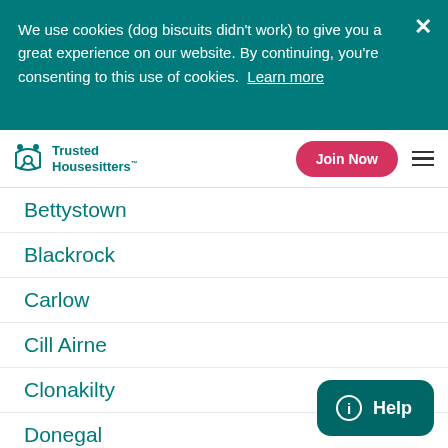We use cookies (dog biscuits didn't work) to give you a great experience on our website. By continuing, you're consenting to this use of cookies.  Learn more
Trusted Housesitters™ | Join Now
Bettystown
Blackrock
Carlow
Cill Airne
Clonakilty
Donegal
Listowel
Loch Garman
Macroom